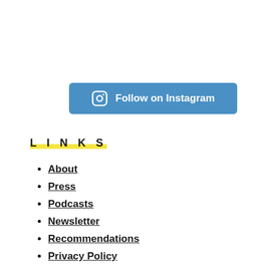[Figure (other): Blue rounded button with Instagram camera icon and text 'Follow on Instagram' in white]
LINKS
About
Press
Podcasts
Newsletter
Recommendations
Privacy Policy